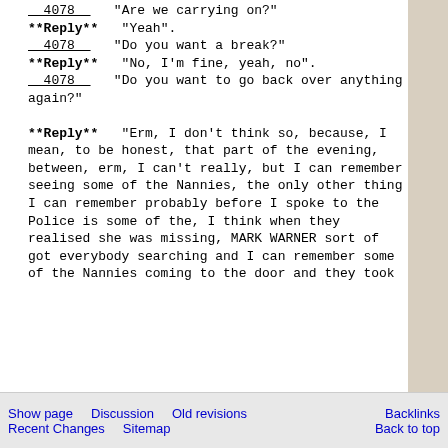__4078__   "Are we carrying on?"
**Reply**   "Yeah".
__4078__   "Do you want a break?"
**Reply**   "No, I'm fine, yeah, no".
__4078__   "Do you want to go back over anything again?"

**Reply**   "Erm, I don't think so, because, I mean, to be honest, that part of the evening, between, erm, I can't really, but I can remember seeing some of the Nannies, the only other thing I can remember probably before I spoke to the Police is some of the, I think when they realised she was missing, MARK WARNER sort of got everybody searching and I can remember some of the Nannies coming to the door and they took
Show page   Discussion   Old revisions   Backlinks
Recent Changes   Sitemap   Back to top